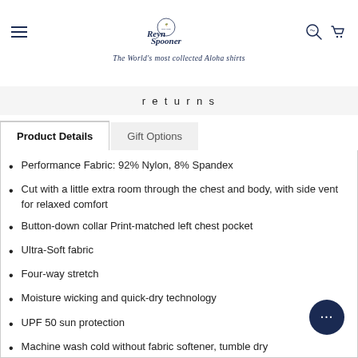[Figure (logo): Reyn Spooner logo with circular emblem, script text, and tagline 'The World's most collected Aloha shirts']
returns
Product Details	Gift Options
Performance Fabric:  92% Nylon, 8% Spandex
Cut with a little extra room through the chest and body, with side vent for relaxed comfort
Button-down collar Print-matched left chest pocket
Ultra-Soft fabric
Four-way stretch
Moisture wicking and quick-dry technology
UPF 50 sun protection
Machine wash cold without fabric softener, tumble dry